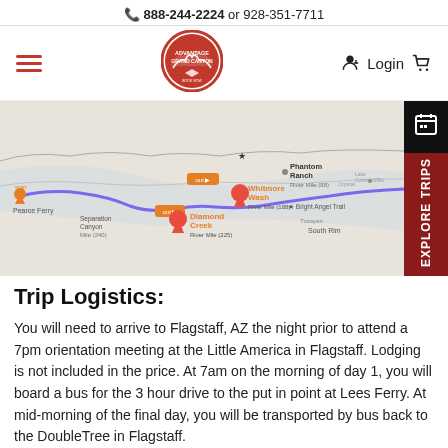📞 888-244-2224 or 928-351-7711
[Figure (logo): Advantage Grand Canyon circular logo with red border and canyon graphic]
[Figure (map): Map showing Grand Canyon river route with markers at Whitmore Wash (River Mile 188), Diamond Creek (River Mile 225), Separation Canyon (Mile 240), Phantom Ranch (River Mile 88), Bright Angel Trail, South Rim, and Pearce Ferry. Purple route line shown. Explore Trips tab on right side.]
Trip Logistics:
You will need to arrive to Flagstaff, AZ the night prior to attend a 7pm orientation meeting at the Little America in Flagstaff. Lodging is not included in the price. At 7am on the morning of day 1, you will board a bus for the 3 hour drive to the put in point at Lees Ferry. At mid-morning of the final day, you will be transported by bus back to the DoubleTree in Flagstaff.